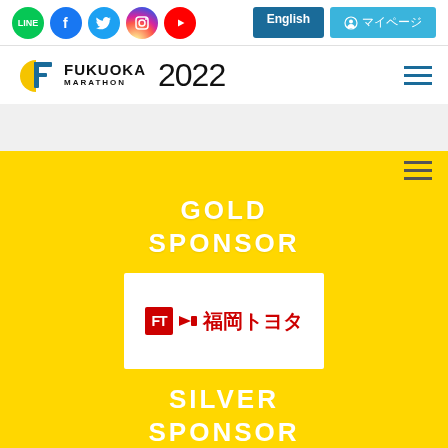Social icons: LINE, Facebook, Twitter, Instagram, YouTube | English | マイページ
[Figure (logo): Fukuoka Marathon 2022 logo with stylized F emblem]
GOLD SPONSOR
[Figure (logo): Fukuoka Toyota (福岡トヨタ) sponsor logo — red FT arrow mark with Japanese text on white background]
SILVER SPONSOR